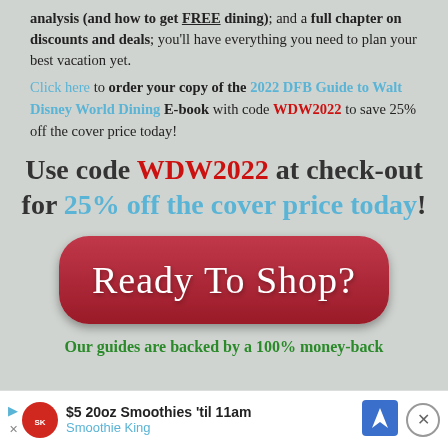analysis (and how to get FREE dining); and a full chapter on discounts and deals; you'll have everything you need to plan your best vacation yet.
Click here to order your copy of the 2022 DFB Guide to Walt Disney World Dining E-book with code WDW2022 to save 25% off the cover price today!
Use code WDW2022 at check-out for 25% off the cover price today!
[Figure (other): Red rounded rectangle button with white cursive text reading 'Ready To Shop?']
Our guides are backed by a 100% money-back
$5 20oz Smoothies 'til 11am Smoothie King